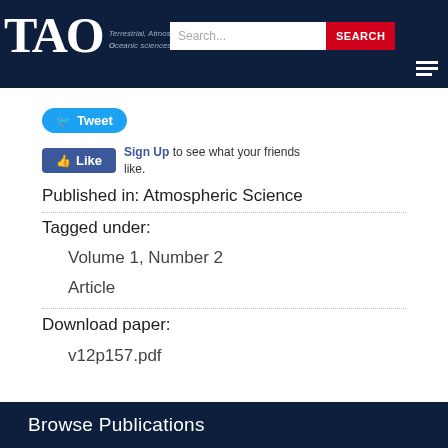TAO Terrestrial, Atmospheric and Oceanic sciences journal
[Figure (screenshot): Tweet button (Twitter blue, rounded)]
[Figure (screenshot): Facebook Like button with Sign Up text]
Published in: Atmospheric Science
Tagged under:
Volume 1, Number 2
Article
Download paper:
v12p157.pdf
Browse Publications